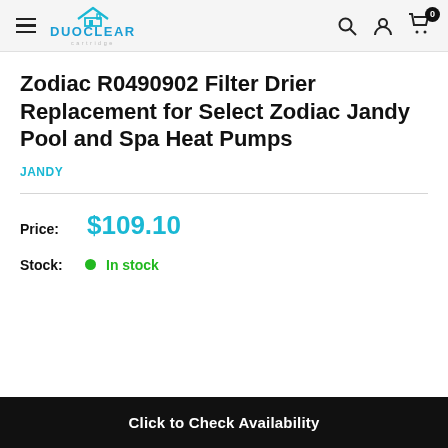DUOCLEAR — navigation header with hamburger menu, search, account, and cart icons
Zodiac R0490902 Filter Drier Replacement for Select Zodiac Jandy Pool and Spa Heat Pumps
JANDY
Price: $109.10
Stock: In stock
Click to Check Availability